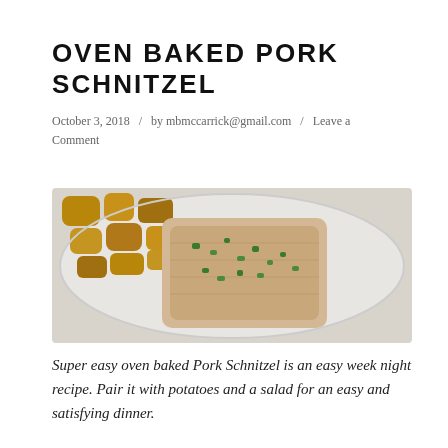OVEN BAKED PORK SCHNITZEL
October 3, 2018  /  by mbmccarrick@gmail.com  /  Leave a Comment
[Figure (photo): A white plate with oven baked pork schnitzel topped with chopped green herbs, accompanied by roasted potato pieces.]
Super easy oven baked Pork Schnitzel is an easy week night recipe. Pair it with potatoes and a salad for an easy and satisfying dinner.